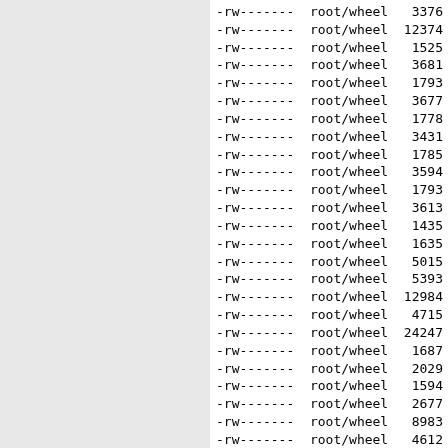-rw------- root/wheel   3376 20
-rw------- root/wheel  12374 20
-rw------- root/wheel   1525 20
-rw------- root/wheel   3681 20
-rw------- root/wheel   1793 20
-rw------- root/wheel   3677 20
-rw------- root/wheel   1778 20
-rw------- root/wheel   3431 20
-rw------- root/wheel   1785 20
-rw------- root/wheel   3594 20
-rw------- root/wheel   1793 20
-rw------- root/wheel   3613 20
-rw------- root/wheel   1435 20
-rw------- root/wheel   1635 20
-rw------- root/wheel   5015 20
-rw------- root/wheel   5393 20
-rw------- root/wheel  12984 20
-rw------- root/wheel   4715 20
-rw------- root/wheel  24247 20
-rw------- root/wheel   1687 20
-rw------- root/wheel   2029 20
-rw------- root/wheel   1594 20
-rw------- root/wheel   2677 20
-rw------- root/wheel   8983 20
-rw------- root/wheel   4612 20
-rw------- root/wheel  14502 20